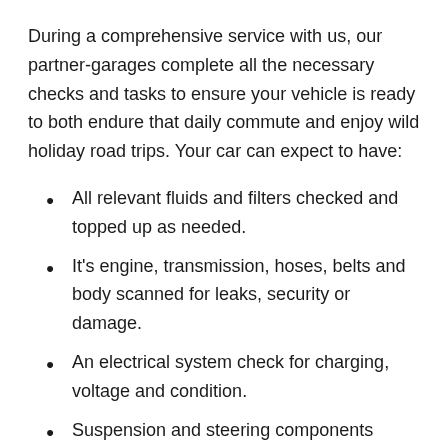During a comprehensive service with us, our partner-garages complete all the necessary checks and tasks to ensure your vehicle is ready to both endure that daily commute and enjoy wild holiday road trips. Your car can expect to have:
All relevant fluids and filters checked and topped up as needed.
It's engine, transmission, hoses, belts and body scanned for leaks, security or damage.
An electrical system check for charging, voltage and condition.
Suspension and steering components checked for functionality, wear, corrosion and leaks.
It's brakes, wheels and bearings checked to make sure you can stick to the road in all